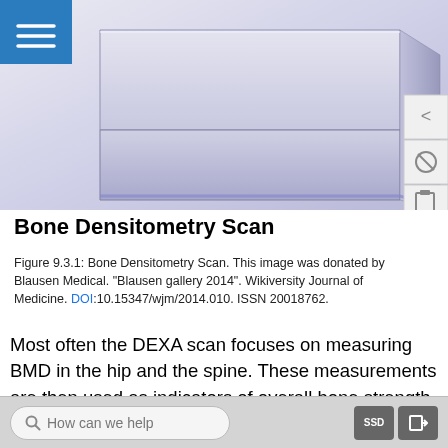[Figure (photo): Bone densitometry (DEXA) scanning machine shown from above at an angle, with a light purple/grey boxy housing. Blue menu icon in top-left corner. Navigation icons on the right side.]
Bone Densitometry Scan
Figure 9.3.1: Bone Densitometry Scan. This image was donated by Blausen Medical. "Blausen gallery 2014". Wikiversity Journal of Medicine. DOI:10.15347/wjm/2014.010. ISSN 20018762.
Most often the DEXA scan focuses on measuring BMD in the hip and the spine. These measurements are then used as indicators of overall bone strength and health. DEXA is the cheapest and most accurate way to measure BMD. It also uses the lowest dose of radiation. Other methods of measuring BMD include
How can we help